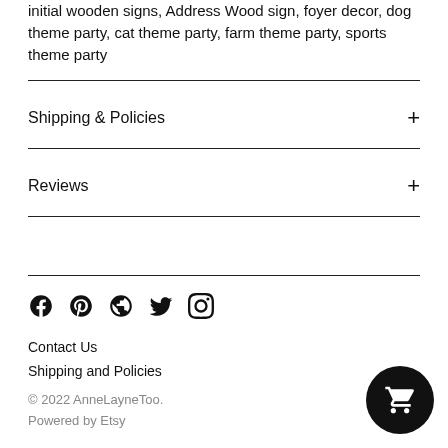initial wooden signs, Address Wood sign, foyer decor, dog theme party, cat theme party, farm theme party, sports theme party
Shipping & Policies
Reviews
[Figure (other): Social media icons: Facebook, Pinterest, Globe/Web, Twitter, Instagram]
Contact Us
Shipping and Policies
© 2022 AnneLayneToo.
Powered by Etsy